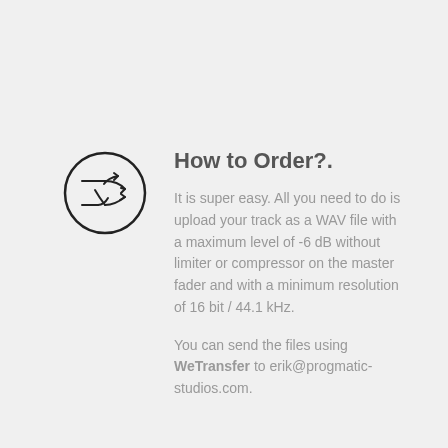[Figure (illustration): A circular icon with two crossing arrows (shuffle/random symbol) inside a thin circle border.]
How to Order?.
It is super easy. All you need to do is upload your track as a WAV file with a maximum level of -6 dB without limiter or compressor on the master fader and with a minimum resolution of 16 bit / 44.1 kHz.
You can send the files using WeTransfer to erik@progmatic-studios.com.